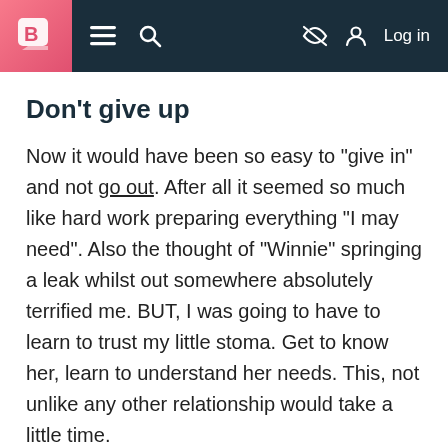B [logo] ≡ 🔍 [eye-off icon] [user icon] Log in
Don't give up
Now it would have been so easy to "give in" and not go out. After all it seemed so much like hard work preparing everything "I may need". Also the thought of "Winnie" springing a leak whilst out somewhere absolutely terrified me. BUT, I was going to have to learn to trust my little stoma. Get to know her, learn to understand her needs. This, not unlike any other relationship would take a little time.
Developing a routine